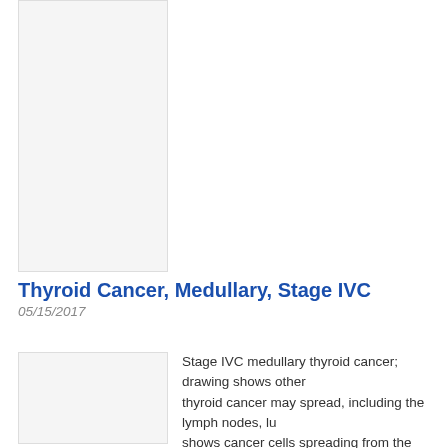[Figure (illustration): Medical illustration image placeholder (top)]
Thyroid Cancer, Medullary, Stage IVC
05/15/2017
[Figure (illustration): Stage IVC medullary thyroid cancer illustration]
Stage IVC medullary thyroid cancer; drawing shows other parts of the body that thyroid cancer may spread, including the lymph nodes, lu... Also shows cancer cells spreading from the thyroid, through the system, to another part of the body where metastatic canc...